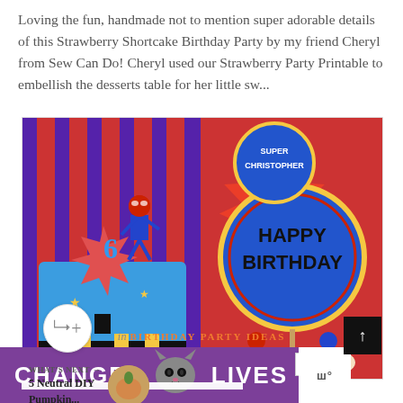Loving the fun, handmade not to mention super adorable details of this Strawberry Shortcake Birthday Party by my friend Cheryl from Sew Can Do! Cheryl used our Strawberry Party Printable to embellish the desserts table for her little sw...
[Figure (photo): Two-panel photo: left panel shows a blue superhero birthday cake with a Spider-Man figure on top and a starburst '6' decoration; right panel shows 'Super Christopher' and 'Happy Birthday' round party signs on a red background]
WHAT'S NEXT → 5 Neutral DIY Pumpkin...
in BIRTHDAY PARTY IDEAS
[Figure (photo): Advertisement banner: purple background with cat graphic, text reading CHANGE LIVES]